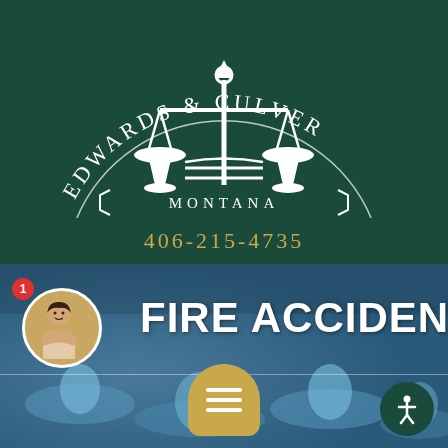[Figure (logo): Edwards & Culver Montana Trial Attorneys logo — dark green semicircle with white scales of justice and arced text]
406-215-4735
FIRE ACCIDENTS
[Figure (photo): Background photo of blue gas flames]
[Figure (illustration): Circular avatar photo of a woman with red notification badge showing 1]
[Figure (other): Gold hamburger menu button (semicircle-top round shape)]
[Figure (other): Dark green accessibility icon button]